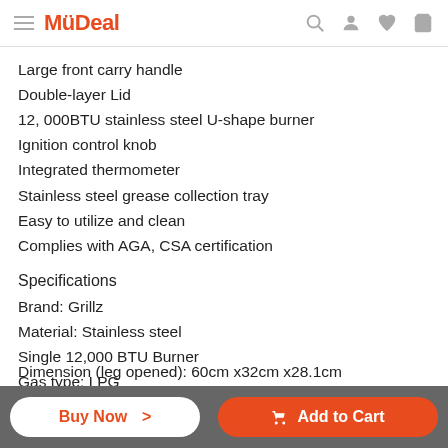MyDeal
Large front carry handle
Double-layer Lid
12, 000BTU stainless steel U-shape burner
Ignition control knob
Integrated thermometer
Stainless steel grease collection tray
Easy to utilize and clean
Complies with AGA, CSA certification
Specifications
Brand: Grillz
Material: Stainless steel
Single 12,000 BTU Burner
Gas type: LPG
C... .5cm
D... 3m x 32...
Dimension (leg opened): 60cm x32cm x28.1cm